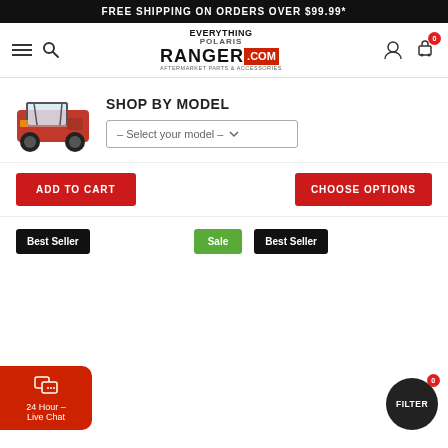FREE SHIPPING ON ORDERS OVER $99.99*
[Figure (logo): Everything Polaris Ranger .com logo with hamburger menu, search icon, user icon, and cart icon showing 0 items]
[Figure (photo): Red Polaris Ranger UTV side-by-side vehicle]
SHOP BY MODEL
– Select your model –
ADD TO CART
CHOOSE OPTIONS
Best Seller
Sale
Best Seller
24 Hour - Live Chat
FILTER